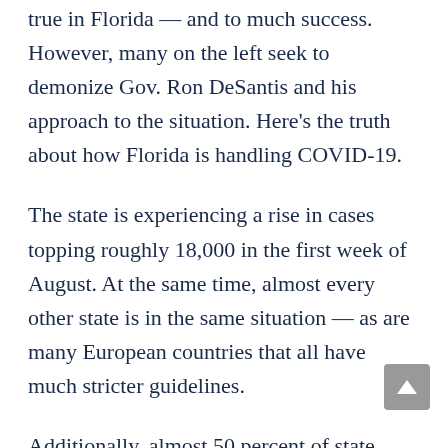true in Florida — and to much success. However, many on the left seek to demonize Gov. Ron DeSantis and his approach to the situation. Here's the truth about how Florida is handling COVID-19.
The state is experiencing a rise in cases topping roughly 18,000 in the first week of August. At the same time, almost every other state is in the same situation — as are many European countries that all have much stricter guidelines.
Additionally, almost 50 percent of state residents are fully vaccinated and counties with higher vaccination rates are still seeing cases